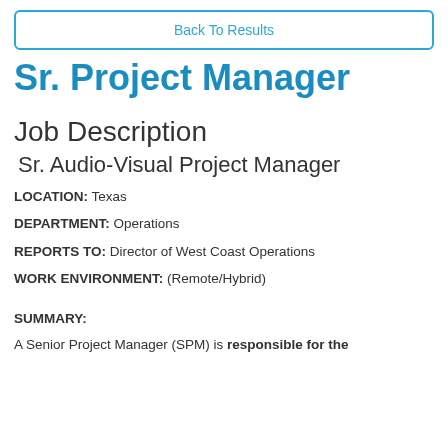Back To Results
Sr. Project Manager
Job Description
Sr. Audio-Visual Project Manager
LOCATION: Texas
DEPARTMENT: Operations
REPORTS TO: Director of West Coast Operations
WORK ENVIRONMENT: (Remote/Hybrid)
SUMMARY:
A Senior Project Manager (SPM) is responsible for the